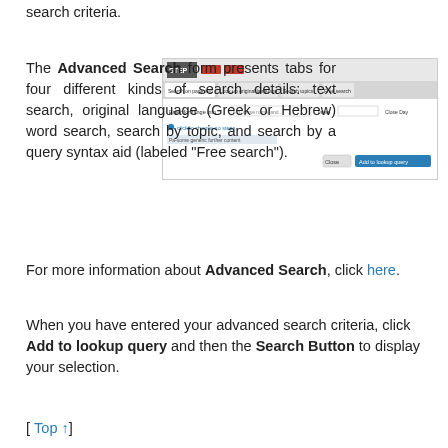search criteria.
[Figure (screenshot): Screenshot of the STEP Advanced Search form interface showing tabs and search fields with an 'Add to lookup query' button.]
The Advanced Search form presents tabs for four different kinds of search details: text search, original language (Greek or Hebrew) word search, search by topic, and search by a query syntax aid (labeled "Free search").
For more information about Advanced Search, click here.
When you have entered your advanced search criteria, click Add to lookup query and then the Search Button to display your selection.
[ Top ↑]